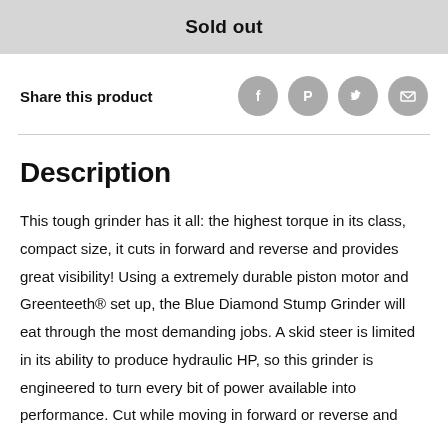Sold out
Share this product
[Figure (other): Social sharing icons: Facebook, Pinterest, Twitter, Email]
Description
This tough grinder has it all: the highest torque in its class, compact size, it cuts in forward and reverse and provides great visibility! Using a extremely durable piston motor and Greenteeth® set up, the Blue Diamond Stump Grinder will eat through the most demanding jobs. A skid steer is limited in its ability to produce hydraulic HP, so this grinder is engineered to turn every bit of power available into performance. Cut while moving in forward or reverse and